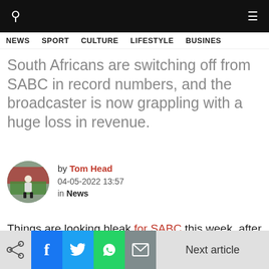NEWS  SPORT  CULTURE  LIFESTYLE  BUSINES
South Africans are switching off from SABC in record numbers, and the broadcaster is now grappling with a huge loss in revenue.
by Tom Head
04-05-2022 13:57
in News
Things are looking bleak for SABC this week, after CEO Madoda Mxakwe revealed that the government-owned company had suffered its ‘biggest ever revenue loss’ in
Next article